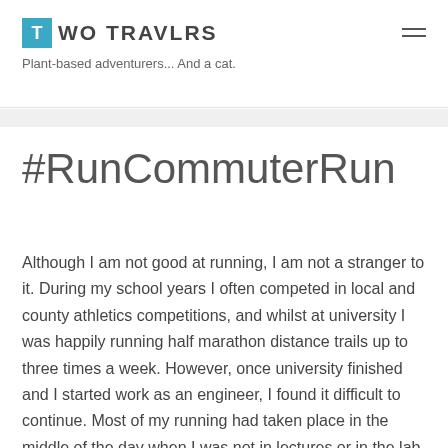TWO TRAVLRS
Plant-based adventurers... And a cat.
#RunCommuterRun
Although I am not good at running, I am not a stranger to it. During my school years I often competed in local and county athletics competitions, and whilst at university I was happily running half marathon distance trails up to three times a week. However, once university finished and I started work as an engineer, I found it difficult to continue. Most of my running had taken place in the middle of the day when I was not in lectures or in the lab, as a release from the stresses of studying. Now, I am forced to